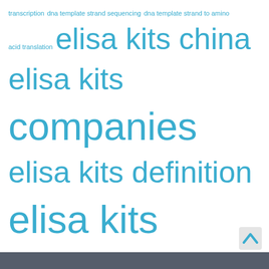[Figure (other): Tag cloud of search terms related to ELISA kits, enzymes, and equipment. Terms displayed in varying font sizes in teal/cyan color on white background. Larger terms include 'elisa kits china', 'elisa kits companies', 'elisa kits definition', 'elisa kits nigeria'. Smaller terms include transcription, dna template strand, enzymes, equipment-related phrases.]